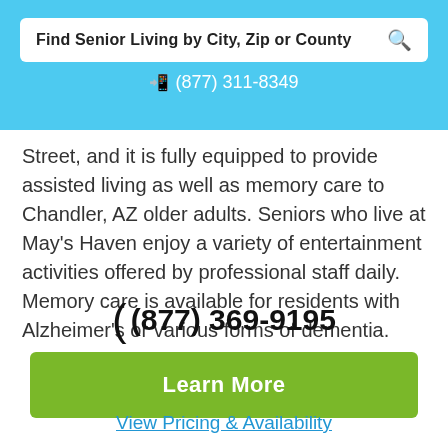Find Senior Living by City, Zip or County
📱 (877) 311-8349
Street, and it is fully equipped to provide assisted living as well as memory care to Chandler, AZ older adults. Seniors who live at May's Haven enjoy a variety of entertainment activities offered by professional staff daily. Memory care is available for residents with Alzheimer's or various forms of dementia.
( (877) 369-9195
Learn More
View Pricing & Availability